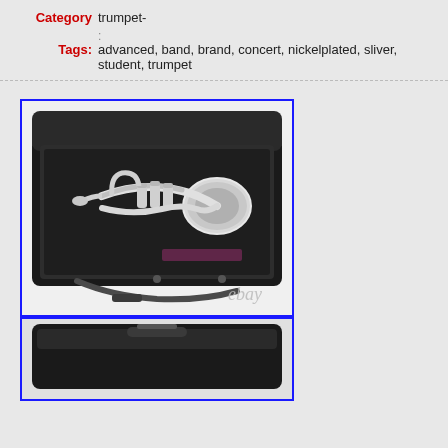Category: trumpet-
Tags: advanced, band, brand, concert, nickelplated, sliver, student, trumpet
[Figure (photo): A silver/nickel-plated trumpet resting in an open black carry case with shoulder strap. The eBay watermark is visible at the bottom right of the image.]
[Figure (photo): Bottom portion of another product photo showing the top of the black trumpet case, partially cropped.]